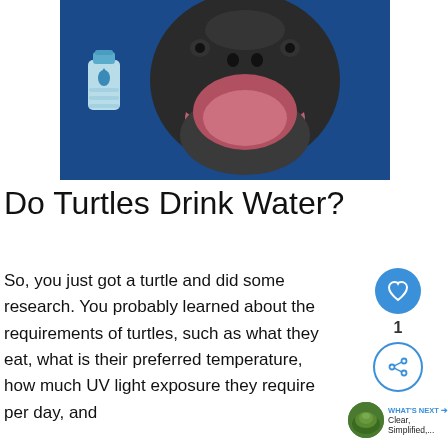[Figure (photo): Close-up of a turtle with open mouth from below, with a water bottle icon overlay on blue background]
Do Turtles Drink Water?
So, you just got a turtle and did some research. You probably learned about the requirements of turtles, such as what they eat, what is their preferred temperature, how much UV light exposure they require per day, and
[Figure (infographic): Sidebar UI elements: heart/like button with count 1, share button, and WHAT'S NEXT link with turtle thumbnail labeled Clear, Simplified,...]